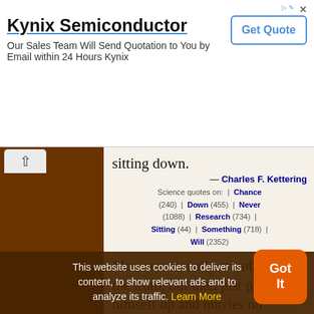[Figure (other): Kynix Semiconductor advertisement banner with title, subtitle, and Get Quote button]
sitting down.
— Charles F. Kettering
Science quotes on: | Chance (240) | Down (455) | Never (1088) | Research (734) | Sitting (44) | Something (718) | Will (2352)
Man occasionally stumbles on the truth, but then just picks himself up and hurries on regardless.
— Anonymous
Science quotes on: | Himself (961) | Hurry (15) | Man (2352) | Such Saying (67) | Scientific Method (185) | Truth (1088)
This website uses cookies to deliver its content, to show relevant ads and to analyze its traffic. Learn More